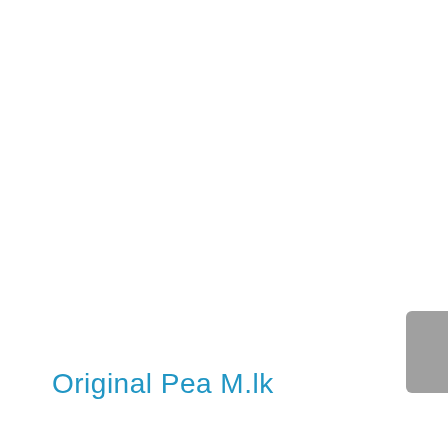[Figure (other): Gray rounded rectangle tab partially visible on the right edge of the page]
Original Pea M.lk